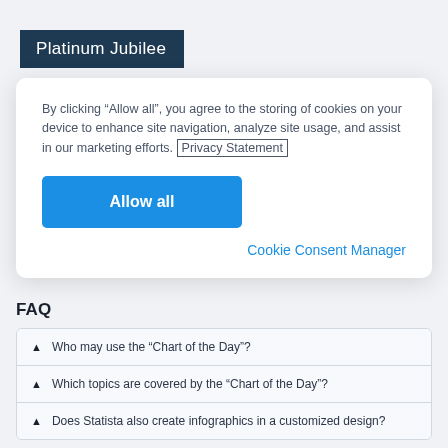Platinum Jubilee
By clicking “Allow all”, you agree to the storing of cookies on your device to enhance site navigation, analyze site usage, and assist in our marketing efforts. Privacy Statement
Allow all
Cookie Consent Manager
FAQ
Who may use the “Chart of the Day”?
Which topics are covered by the “Chart of the Day”?
Does Statista also create infographics in a customized design?